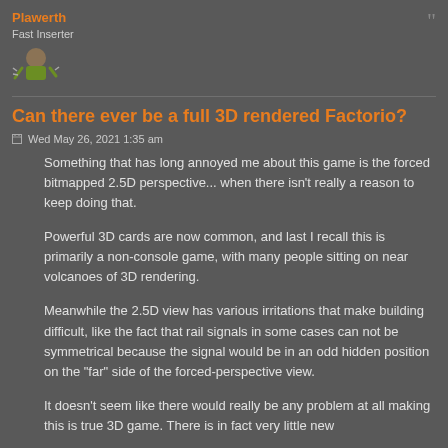Plawerth
Fast Inserter
[Figure (illustration): User avatar image showing a small game character/icon]
Can there ever be a full 3D rendered Factorio?
Wed May 26, 2021 1:35 am
Something that has long annoyed me about this game is the forced bitmapped 2.5D perspective... when there isn't really a reason to keep doing that.
Powerful 3D cards are now common, and last I recall this is primarily a non-console game, with many people sitting on near volcanoes of 3D rendering.
Meanwhile the 2.5D view has various irritations that make building difficult, like the fact that rail signals in some cases can not be symmetrical because the signal would be in an odd hidden position on the "far" side of the forced-perspective view.
It doesn't seem like there would really be any problem at all making this is true 3D game. There is in fact very little new